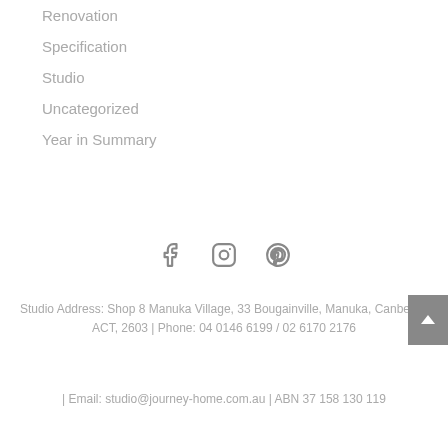Renovation
Specification
Studio
Uncategorized
Year in Summary
[Figure (illustration): Social media icons: Facebook, Instagram, Pinterest]
Studio Address: Shop 8 Manuka Village, 33 Bougainville, Manuka, Canberra, ACT, 2603 | Phone: 04 0146 6199 / 02 6170 2176
| Email: studio@journey-home.com.au | ABN 37 158 130 119